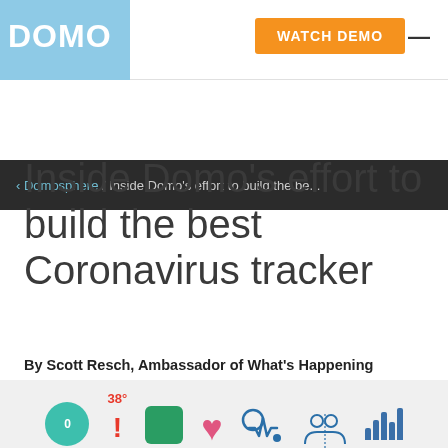DOMO | WATCH DEMO
‹ Domosphere / Inside Domo's effort to build the be...
Inside Domo's effort to build the best Coronavirus tracker
By Scott Resch, Ambassador of What's Happening
Tuesday, September 8, 2020
[Figure (illustration): Partial view of a COVID-19 tracker dashboard graphic with colorful health-related icons including a teal circle with number, red exclamation mark, green medical icon, pink heart, blue stethoscope/heartbeat icon, people icon, and bar chart icon on a light gray background.]